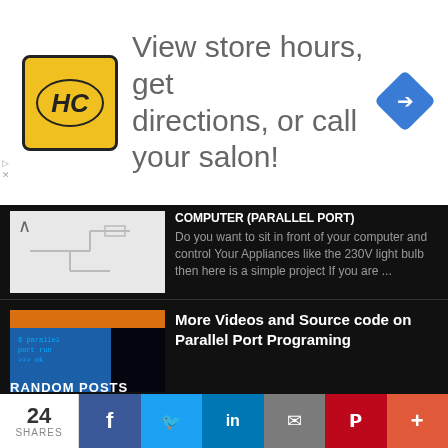[Figure (screenshot): Advertisement banner: HC logo (yellow/black circle), text 'View store hours, get directions, or call your salon!' with blue diamond arrow icon on right]
COMPUTER (PARALLEL PORT)
Do you want to sit in front of your computer and control Your Appliances like the 230V light bulb then here is a simple project If you are ...
More Videos and Source code on Parallel Port Programing
if want to know how to do this click here HOW TO PROGRAM THE PARALLEL PORT Dowload source code
RANDOM POSTS
MOST RECENT
[Figure (screenshot): Share bar at bottom: 24 SHARES, Facebook, Twitter, LinkedIn, Email, Pinterest, More buttons]